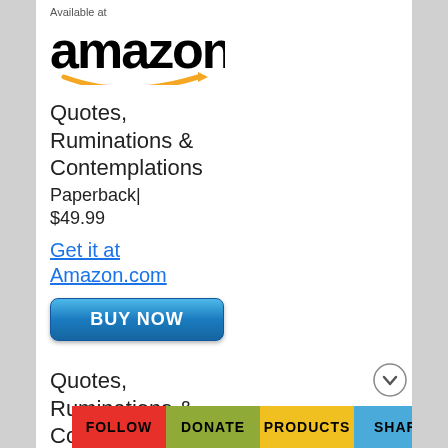Available at
[Figure (logo): Amazon logo with orange arrow smile underneath the word amazon in bold black text]
Quotes, Ruminations & Contemplations Paperback| $49.99
Get it at Amazon.com
[Figure (other): BUY NOW button in blue gradient]
Quotes, Ruminations & Contemplations Hardcover| $99.99
Get it at Amazon.com
[Figure (other): BUY NOW button in blue gradient]
FOLLOW   DONATE   PRODUCTS   SHARE